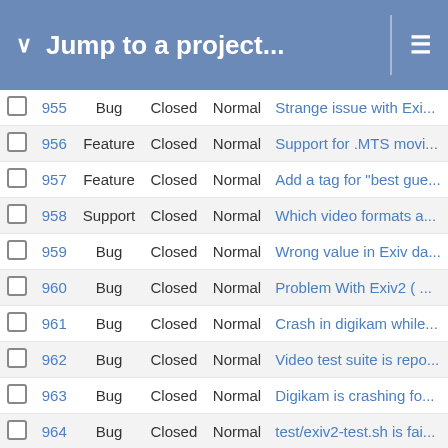Jump to a project...
|  | # | Type | Status | Priority | Subject |
| --- | --- | --- | --- | --- | --- |
|  | 955 | Bug | Closed | Normal | Strange issue with Exi... |
|  | 956 | Feature | Closed | Normal | Support for .MTS movi... |
|  | 957 | Feature | Closed | Normal | Add a tag for "best gue... |
|  | 958 | Support | Closed | Normal | Which video formats a... |
|  | 959 | Bug | Closed | Normal | Wrong value in Exiv da... |
|  | 960 | Bug | Closed | Normal | Problem With Exiv2 ( ... |
|  | 961 | Bug | Closed | Normal | Crash in digikam while... |
|  | 962 | Bug | Closed | Normal | Video test suite is repo... |
|  | 963 | Bug | Closed | Normal | Digikam is crashing fo... |
|  | 964 | Bug | Closed | Normal | test/exiv2-test.sh is fai... |
|  | 965 | Bug | Closed | Normal | Pentax K-3 MakerNote... |
|  | 966 | Bug | Closed | Normal | svn_version.sh not exe... |
|  | 967 | Patch | New | Normal | Back metadata by map... |
|  | 969 | Bug | Closed | Normal | Recognising Sigma 50... |
|  | 970 | Bug | Closed | Normal | Coverity scan : Issue C... |